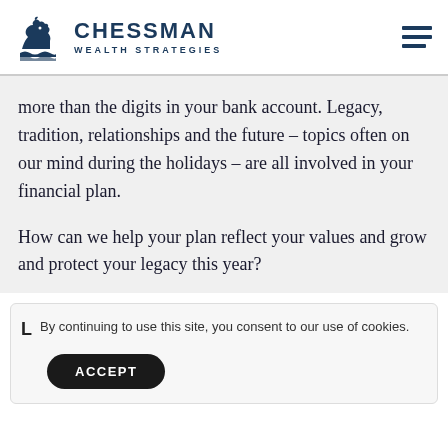CHESSMAN WEALTH STRATEGIES
more than the digits in your bank account. Legacy, tradition, relationships and the future – topics often on our mind during the holidays – are all involved in your financial plan.
How can we help your plan reflect your values and grow and protect your legacy this year?
By continuing to use this site, you consent to our use of cookies.